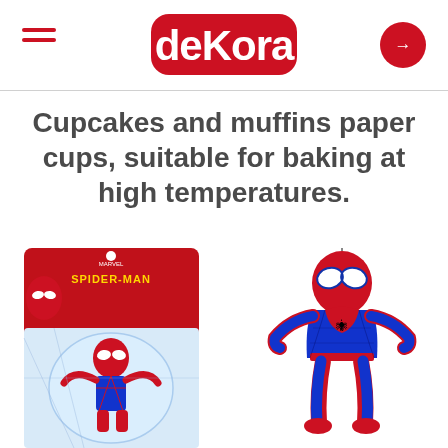deKora navigation header with hamburger menu and login button
Cupcakes and muffins paper cups, suitable for baking at high temperatures.
[Figure (photo): Spider-Man birthday candle product in retail blister packaging with Marvel Spider-Man branding]
[Figure (photo): Spider-Man 3D figurine birthday candle, showing the full Spider-Man character in red and blue costume]